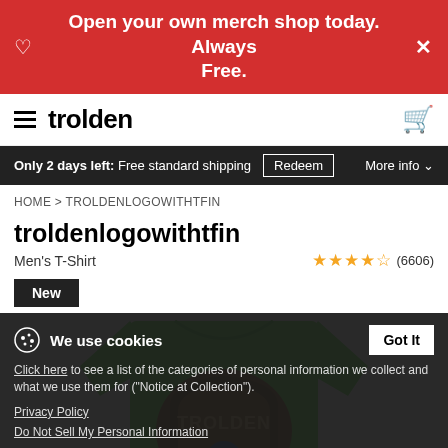Open your own merch shop today. Always Free.
trolden
Only 2 days left: Free standard shipping   Redeem   More info
HOME > TROLDENLOGOWITHTFIN
troldenlogowithtfin
Men's T-Shirt
★★★★½ (6606)
New
[Figure (photo): Green Men's T-Shirt with Trolden logo (shield design) on the front]
We use cookies   Got It
Click here to see a list of the categories of personal information we collect and what we use them for ("Notice at Collection").
Privacy Policy
Do Not Sell My Personal Information
By using this website, I agree to the Terms and Conditions